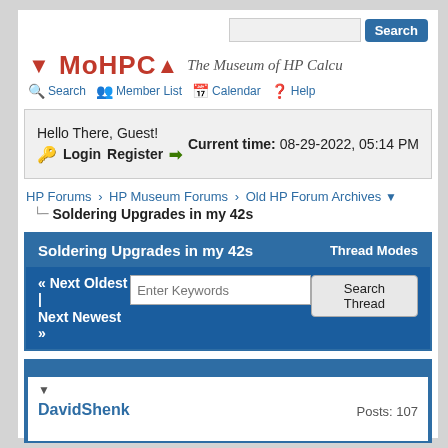Search
[Figure (logo): MoHPCA logo with red arrows and italic text 'The Museum of HP Calcu']
Search | Member List | Calendar | Help
Hello There, Guest! Current time: 08-29-2022, 05:14 PM Login Register
HP Forums › HP Museum Forums › Old HP Forum Archives ▼
Soldering Upgrades in my 42s
Soldering Upgrades in my 42s — Thread Modes
« Next Oldest | Next Newest »  Enter Keywords  Search Thread
▼  DavidShenk  Posts: 107